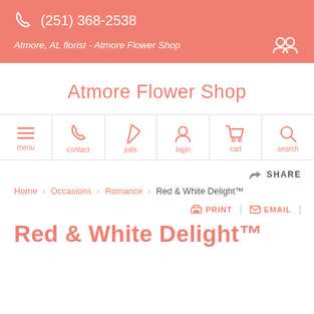(251) 368-2538 | Atmore, AL florist - Atmore Flower Shop
Atmore Flower Shop
[Figure (infographic): Navigation bar with icons for menu, contact, jobs, login, cart, search]
SHARE
Home / Occasions / Romance / Red & White Delight™
PRINT | EMAIL
Red & White Delight™